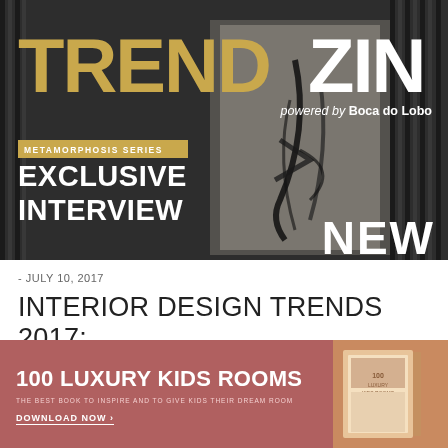[Figure (photo): TRENDZIN magazine cover/header image with dark background, decorative door with artistic black ink strokes, showing 'TRENDZIN powered by Boca do Lobo', 'METAMORPHOSIS SERIES', 'EXCLUSIVE INTERVIEW', and 'NEW' labels]
- JULY 10, 2017
INTERIOR DESIGN TRENDS 2017: WHAT'S NEW?
[Figure (infographic): Advertisement banner: '100 LUXURY KIDS ROOMS - THE BEST BOOK TO INSPIRE AND TO GIVE KIDS THEIR DREAM ROOM - DOWNLOAD NOW >' with a book image on a rose/mauve background]